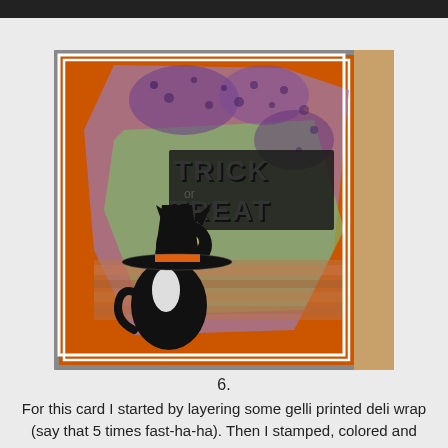[Figure (photo): A Halloween handmade card with an orange background, layered with gelli printed deli wrap in purple and green tones. In the center-right area is a raised black 'TRICK or TREAT' stamp. On the lower-left is a black cat wearing a witch hat with an orange band.]
6.
For this card I started by layering some gelli printed deli wrap (say that 5 times fast-ha-ha). Then I stamped, colored and